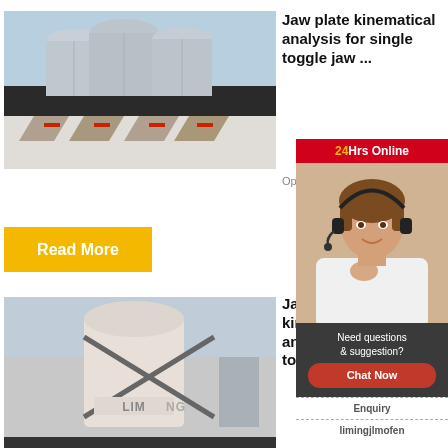[Figure (photo): Industrial facility with metal silos and cylindrical storage tanks on a building roof, outdoor industrial scene]
Jaw plate kinematical analysis for single toggle jaw ...
Optimum d
Read More
[Figure (infographic): 24Hrs Online customer service sidebar with photo of woman wearing headset, need questions & suggestion section, Chat Now button, Enquiry link, limingjlmofen link]
[Figure (photo): Industrial milling machine with Liming branding, white cylindrical equipment, outdoor industrial setting]
Jaw pla kinema analysis toggle j